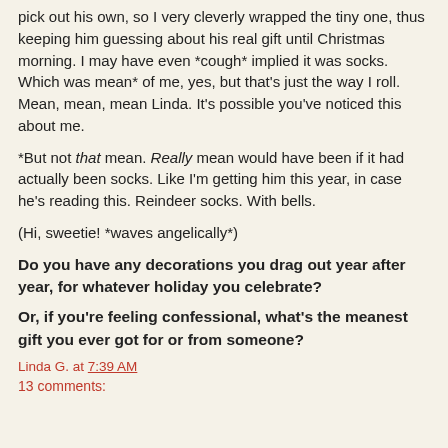pick out his own, so I very cleverly wrapped the tiny one, thus keeping him guessing about his real gift until Christmas morning. I may have even *cough* implied it was socks. Which was mean* of me, yes, but that's just the way I roll. Mean, mean, mean Linda. It's possible you've noticed this about me.
*But not that mean. Really mean would have been if it had actually been socks. Like I'm getting him this year, in case he's reading this. Reindeer socks. With bells.
(Hi, sweetie! *waves angelically*)
Do you have any decorations you drag out year after year, for whatever holiday you celebrate?
Or, if you're feeling confessional, what's the meanest gift you ever got for or from someone?
Linda G. at 7:39 AM
13 comments: